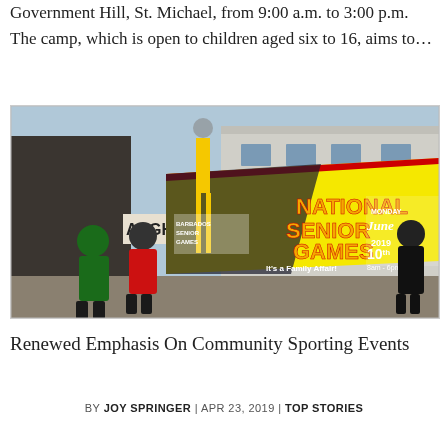Government Hill, St. Michael, from 9:00 a.m. to 3:00 p.m. The camp, which is open to children aged six to 16, aims to…
[Figure (photo): People holding a banner for the National Senior Games, Barbados. The banner reads 'National Senior Games – It's a Family Affair! Monday June 10th 8am–6pm'. Participants are dressed in colourful clothing, standing on a street with buildings in the background.]
Renewed Emphasis On Community Sporting Events
BY JOY SPRINGER | APR 23, 2019 | TOP STORIES